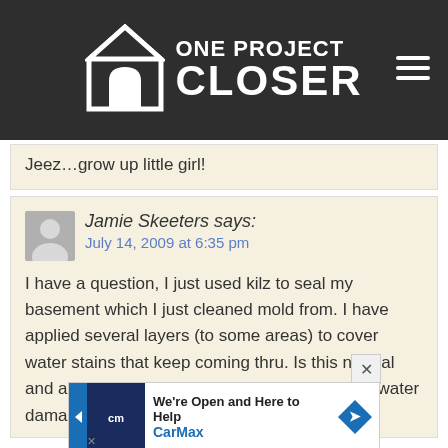[Figure (logo): One Project Closer website logo with house icon on dark grey header bar with hamburger menu icon]
Jeez…grow up little girl!
Jamie Skeeters says:
July 14, 2009 at 6:35 pm

I have a question, I just used kilz to seal my basement which I just cleaned mold from. I have applied several layers (to some areas) to cover water stains that keep coming thru. Is this normal and also does this mean the chances of future water damage is high?
[Figure (screenshot): CarMax advertisement banner: We're Open and Here to Help CarMax]